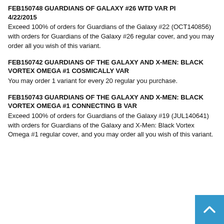FEB150748 GUARDIANS OF GALAXY #26 WTD VAR PI 4/22/2015
Exceed 100% of orders for Guardians of the Galaxy #22 (OCT140856) with orders for Guardians of the Galaxy #26 regular cover, and you may order all you wish of this variant.
FEB150742 GUARDIANS OF THE GALAXY AND X-MEN: BLACK VORTEX OMEGA #1 COSMICALLY VAR
You may order 1 variant for every 20 regular you purchase.
FEB150743 GUARDIANS OF THE GALAXY AND X-MEN: BLACK VORTEX OMEGA #1 CONNECTING B VAR
Exceed 100% of orders for Guardians of the Galaxy #19 (JUL140641) with orders for Guardians of the Galaxy and X-Men: Black Vortex Omega #1 regular cover, and you may order all you wish of this variant.